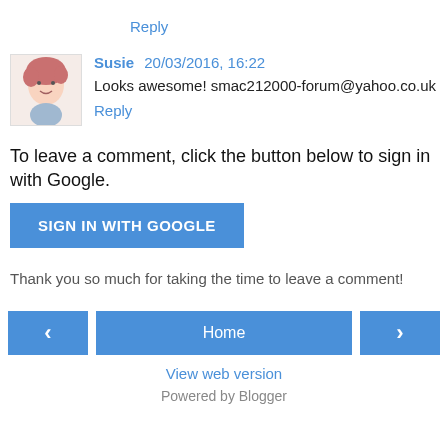Reply
Susie  20/03/2016, 16:22
Looks awesome! smac212000-forum@yahoo.co.uk
Reply
To leave a comment, click the button below to sign in with Google.
SIGN IN WITH GOOGLE
Thank you so much for taking the time to leave a comment!
‹
Home
›
View web version
Powered by Blogger